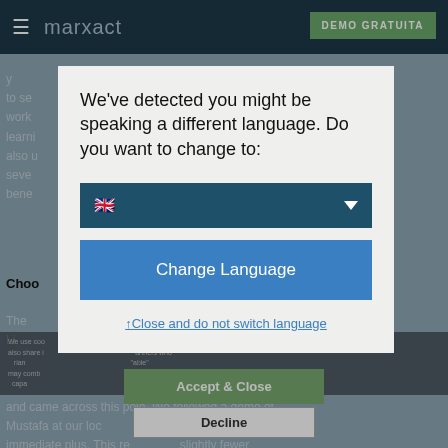[Figure (screenshot): Website header/navigation bar with hamburger menu, 'marxact' logo, and 'DEMO GRATUITA' green button]
We've detected you might be speaking a different language. Do you want to change to:
[Figure (screenshot): Language selector dropdown with UK flag emoji and dropdown arrow, dark teal background]
Change Language
↑Close and do not switch language
Accept & Close
Decline